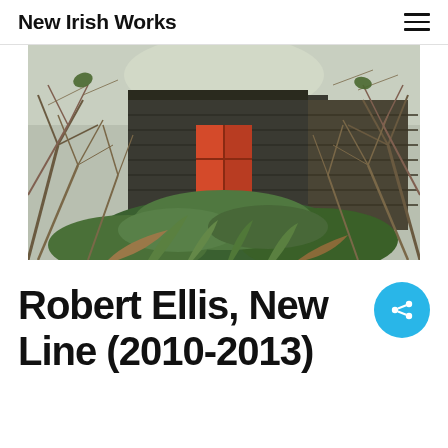New Irish Works
[Figure (photo): Photograph of an overgrown abandoned shed or structure, surrounded by bare winter branches and dense green foliage at ground level. A red door or window is visible at the centre of the structure. The shed appears to be made of dark wood, partially obscured by vegetation.]
Robert Ellis, New Line (2010-2013)